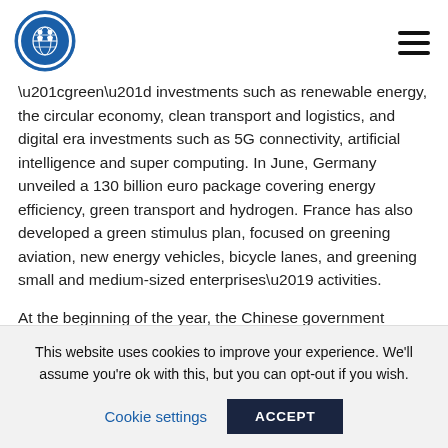CCICED logo and navigation menu
“green” investments such as renewable energy, the circular economy, clean transport and logistics, and digital era investments such as 5G connectivity, artificial intelligence and super computing. In June, Germany unveiled a 130 billion euro package covering energy efficiency, green transport and hydrogen. France has also developed a green stimulus plan, focused on greening aviation, new energy vehicles, bicycle lanes, and greening small and medium-sized enterprises’ activities.
At the beginning of the year, the Chinese government
This website uses cookies to improve your experience. We’ll assume you’re ok with this, but you can opt-out if you wish.
Cookie settings   ACCEPT